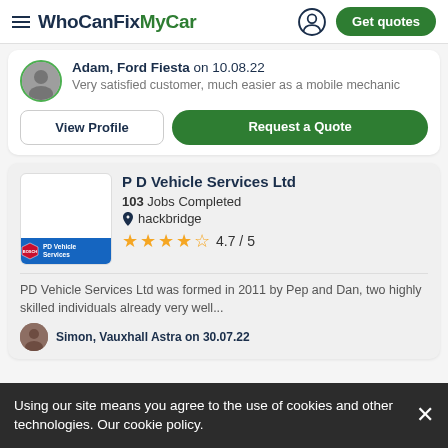WhoCanFixMyCar — Get quotes
Adam, Ford Fiesta on 10.08.22
Very satisfied customer, much easier as a mobile mechanic
View Profile | Request a Quote
P D Vehicle Services Ltd
103 Jobs Completed
hackbridge
4.7 / 5
PD Vehicle Services Ltd was formed in 2011 by Pep and Dan, two highly skilled individuals already very well...
Simon, Vauxhall Astra on 30.07.22
Using our site means you agree to the use of cookies and other technologies. Our cookie policy.